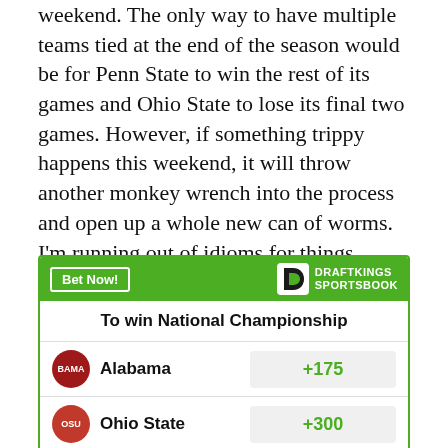weekend. The only way to have multiple teams tied at the end of the season would be for Penn State to win the rest of its games and Ohio State to lose its final two games. However, if something trippy happens this weekend, it will throw another monkey wrench into the process and open up a whole new can of worms. I'm running out of idioms for things devolving into chaos, so let's just say that if any of the Big Ten East favorites lose on Saturday, we'll revisit the title race a week from now.
[Figure (infographic): DraftKings Sportsbook betting advertisement. Header: 'Bet Now!' button and DraftKings Sportsbook logo. Title: 'To win National Championship'. Row 1: Alabama +175. Row 2: Ohio State +300.]